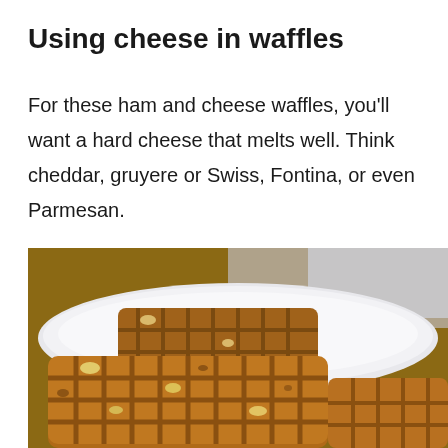Using cheese in waffles
For these ham and cheese waffles, you'll want a hard cheese that melts well. Think cheddar, gruyere or Swiss, Fontina, or even Parmesan.
[Figure (photo): Close-up photo of golden-brown cheese waffles stacked on a white plate with blurred background]